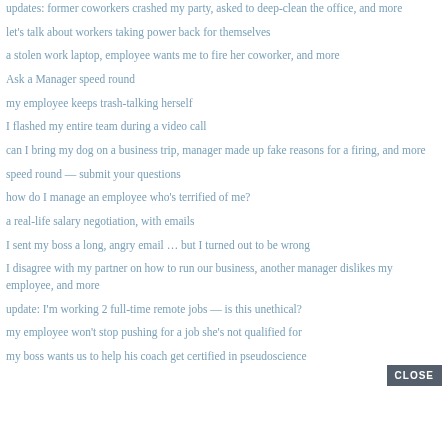updates: former coworkers crashed my party, asked to deep-clean the office, and more
let’s talk about workers taking power back for themselves
a stolen work laptop, employee wants me to fire her coworker, and more
Ask a Manager speed round
my employee keeps trash-talking herself
I flashed my entire team during a video call
can I bring my dog on a business trip, manager made up fake reasons for a firing, and more
speed round — submit your questions
how do I manage an employee who’s terrified of me?
a real-life salary negotiation, with emails
I sent my boss a long, angry email … but I turned out to be wrong
I disagree with my partner on how to run our business, another manager dislikes my employee, and more
update: I’m working 2 full-time remote jobs — is this unethical?
my employee won’t stop pushing for a job she’s not qualified for
my boss wants us to help his coach get certified in pseudoscience